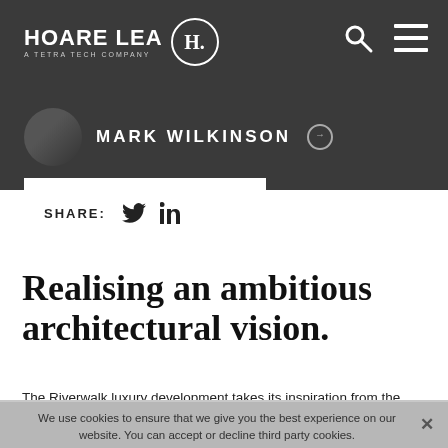HOARE LEA H. A TETRA TECH COMPANY
MARK WILKINSON
SHARE:
Realising an ambitious architectural vision.
The Riverwalk luxury development takes its inspiration from the undulating river Thames that it overlooks. It comprises 116 apartments in one seven-storey and another seventeen-storey tower. Linked at ground level with a basement carpark, these buildings also include
We use cookies to ensure that we give you the best experience on our website. You can accept or decline third party cookies.